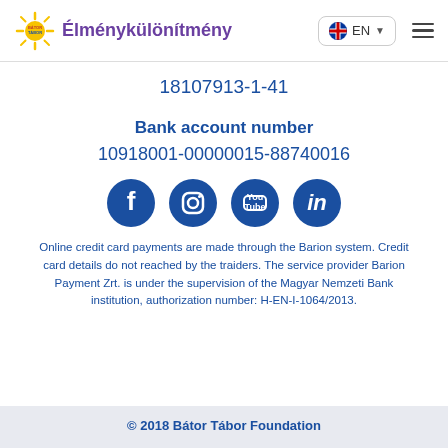Élménykülönítmény  EN
18107913-1-41
Bank account number
10918001-00000015-88740016
[Figure (illustration): Social media icons: Facebook, Instagram, YouTube, LinkedIn]
Online credit card payments are made through the Barion system. Credit card details do not reached by the traiders. The service provider Barion Payment Zrt. is under the supervision of the Magyar Nemzeti Bank institution, authorization number: H-EN-I-1064/2013.
© 2018 Bátor Tábor Foundation